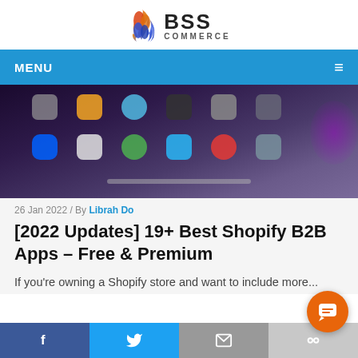[Figure (logo): BSS Commerce logo with flame icon on left and 'BSS COMMERCE' text on right]
MENU ☰
[Figure (photo): Dark background showing a computer screen with app icons including Dropbox, various colorful app icons arranged in a grid, with a purple glow on the right side]
26 Jan 2022 / By Librah Do
[2022 Updates] 19+ Best Shopify B2B Apps – Free & Premium
If you're owning a Shopify store and want to include more...